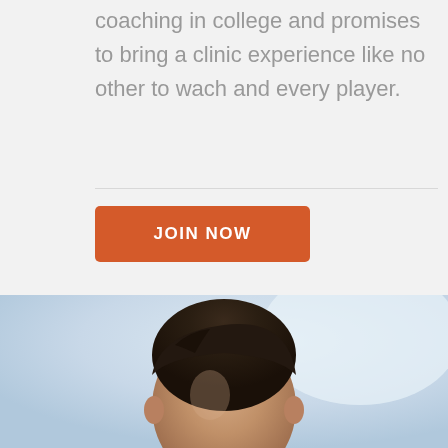coaching in college and promises to bring a clinic experience like no other to wach and every player.
[Figure (photo): Portrait photo of a man with dark hair, shown from the shoulders up, with a light blue/grey background]